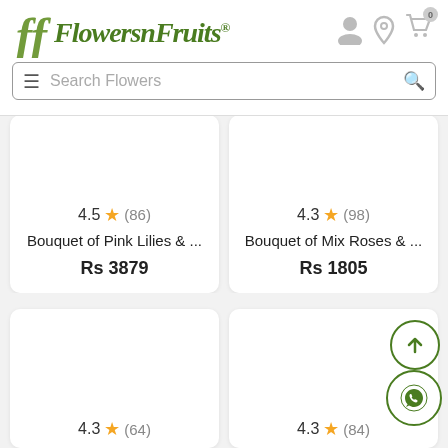Flowers n Fruits
4.5 ★ (86)
Bouquet of Pink Lilies & ...
Rs 3879
4.3 ★ (98)
Bouquet of Mix Roses & ...
Rs 1805
4.3 ★ (64)
4.3 ★ (84)